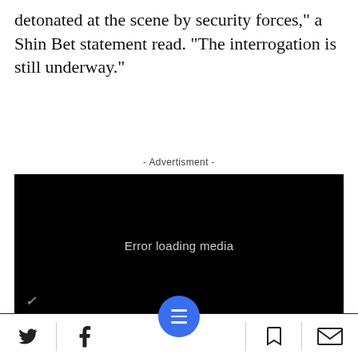detonated at the scene by security forces," a Shin Bet statement read. "The interrogation is still underway."
- Advertisment -
[Figure (screenshot): Black video player box showing 'Error loading media' text with a Verizon logo watermark in the bottom left corner.]
Social sharing bar with Twitter, Facebook, menu button, bookmark, and email icons